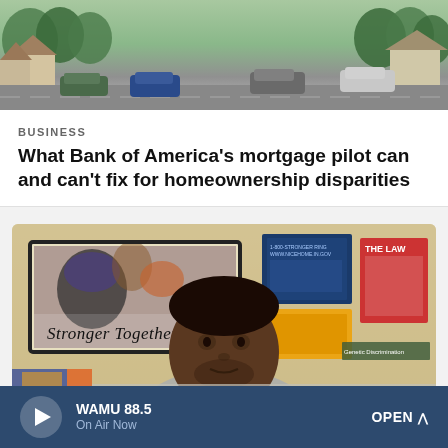[Figure (photo): Aerial or street-level view of a residential neighborhood with cars parked on a tree-lined street]
BUSINESS
What Bank of America's mortgage pilot can and can't fix for homeownership disparities
[Figure (photo): A man seated in front of a 'Stronger Together' poster and wall posters, in what appears to be a community center or office setting]
WAMU 88.5 On Air Now OPEN ^